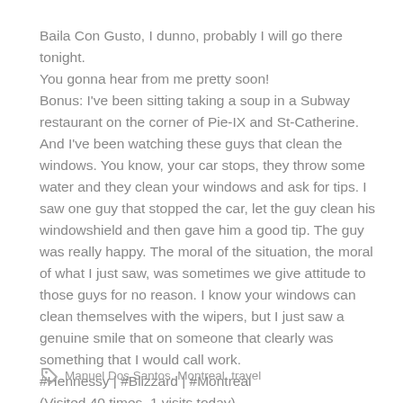Baila Con Gusto, I dunno, probably I will go there tonight. You gonna hear from me pretty soon! Bonus: I've been sitting taking a soup in a Subway restaurant on the corner of Pie-IX and St-Catherine. And I've been watching these guys that clean the windows. You know, your car stops, they throw some water and they clean your windows and ask for tips. I saw one guy that stopped the car, let the guy clean his windowshield and then gave him a good tip. The guy was really happy. The moral of the situation, the moral of what I just saw, was sometimes we give attitude to those guys for no reason. I know your windows can clean themselves with the wipers, but I just saw a genuine smile that on someone that clearly was something that I would call work. #Hennessy | #Blizzard | #Montreal (Visited 40 times, 1 visits today)
Manuel Dos Santos, Montreal, travel